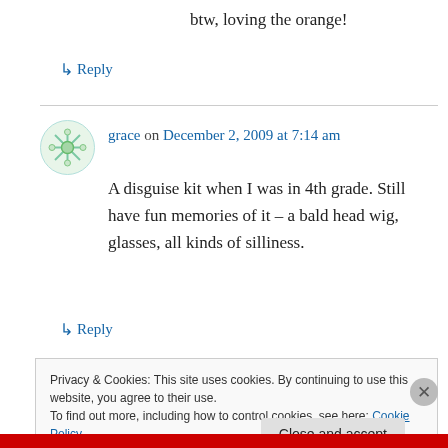btw, loving the orange!
↳ Reply
grace on December 2, 2009 at 7:14 am
A disguise kit when I was in 4th grade. Still have fun memories of it – a bald head wig, glasses, all kinds of silliness.
↳ Reply
Privacy & Cookies: This site uses cookies. By continuing to use this website, you agree to their use.
To find out more, including how to control cookies, see here: Cookie Policy